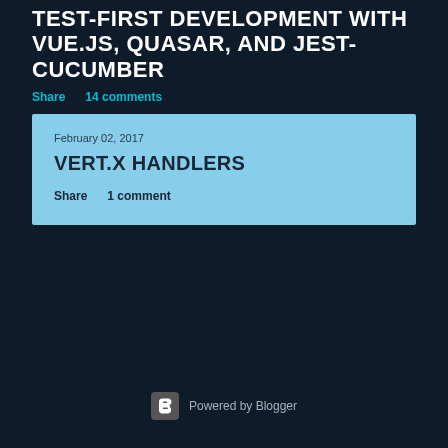TEST-FIRST DEVELOPMENT WITH VUE.JS, QUASAR, AND JEST-CUCUMBER
Share    14 comments
February 02, 2017
VERT.X HANDLERS
Share    1 comment
Powered by Blogger